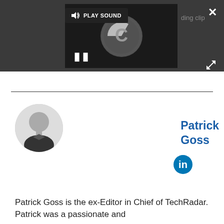[Figure (screenshot): Dark media player area with a loading video spinner, play sound button, pause icon, close button, and expand button]
[Figure (photo): Black and white circular headshot photo of Patrick Goss]
Patrick Goss
[Figure (logo): LinkedIn blue circular icon with 'in' text]
Patrick Goss is the ex-Editor in Chief of TechRadar. Patrick was a passionate and